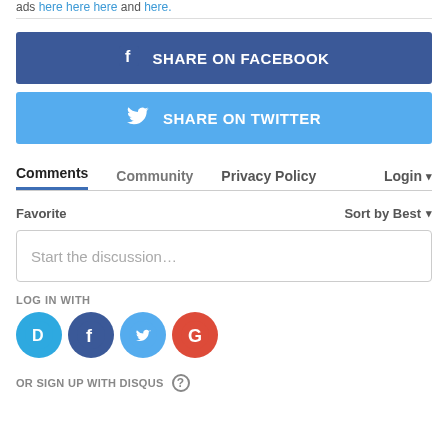ads here here here and here.
[Figure (other): Share on Facebook button — dark blue rectangle with Facebook icon and white bold text 'SHARE ON FACEBOOK']
[Figure (other): Share on Twitter button — bright blue rectangle with Twitter bird icon and white bold text 'SHARE ON TWITTER']
Comments   Community   Privacy Policy   Login ▾
Favorite                              Sort by Best ▾
Start the discussion…
LOG IN WITH
[Figure (other): Row of four social login icon circles: Disqus (blue), Facebook (dark blue), Twitter (light blue), Google (red)]
OR SIGN UP WITH DISQUS ?